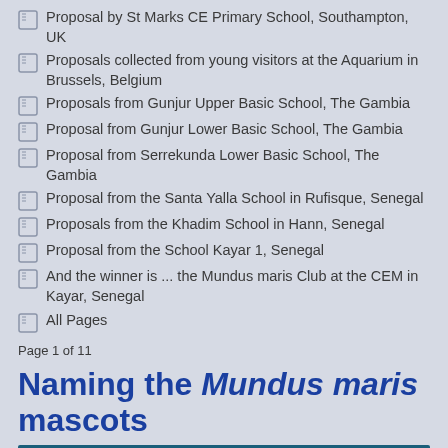Proposal by St Marks CE Primary School, Southampton, UK
Proposals collected from young visitors at the Aquarium in Brussels, Belgium
Proposals from Gunjur Upper Basic School, The Gambia
Proposal from Gunjur Lower Basic School, The Gambia
Proposal from Serrekunda Lower Basic School, The Gambia
Proposal from the Santa Yalla School in Rufisque, Senegal
Proposals from the Khadim School in Hann, Senegal
Proposal from the School Kayar 1, Senegal
And the winner is ... the Mundus maris Club at the CEM in Kayar, Senegal
All Pages
Page 1 of 11
Naming the Mundus maris mascots
[Figure (other): Dark teal banner with bold white italic text reading 'I'm still a baby']